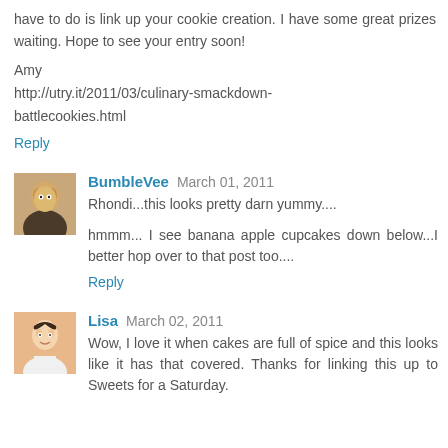have to do is link up your cookie creation. I have some great prizes waiting. Hope to see your entry soon!
Amy
http://utry.it/2011/03/culinary-smackdown-battlecookies.html
Reply
BumbleVee  March 01, 2011
Rhondi...this looks pretty darn yummy....
hmmm... I see banana apple cupcakes down below...I better hop over to that post too....
Reply
Lisa  March 02, 2011
Wow, I love it when cakes are full of spice and this looks like it has that covered. Thanks for linking this up to Sweets for a Saturday.